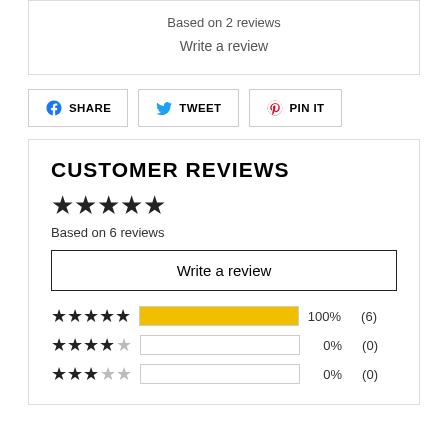Based on 2 reviews
Write a review
SHARE
TWEET
PIN IT
CUSTOMER REVIEWS
Based on 6 reviews
Write a review
100%  (6)
0%  (0)
0%  (0)